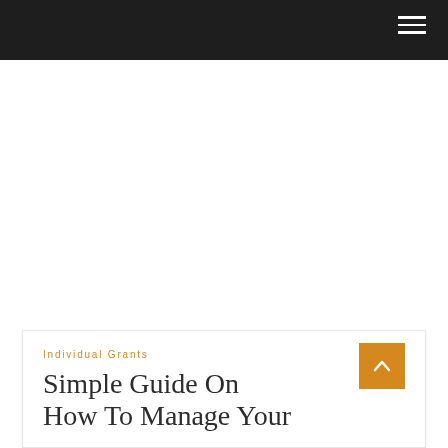Individual Grants
Simple Guide On How To Manage Your